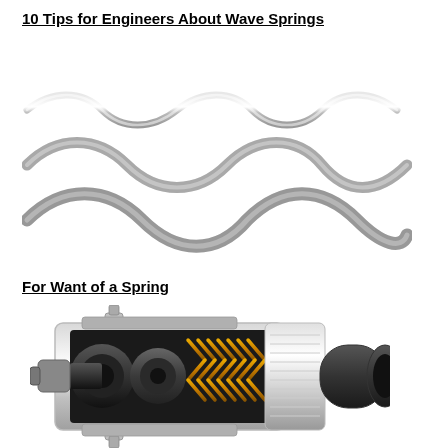10 Tips for Engineers About Wave Springs
[Figure (photo): Three metallic wave springs shown horizontally, displaying sinusoidal wavy metal strip forms in silver/chrome finish against white background]
For Want of a Spring
[Figure (engineering-diagram): Cross-section cutaway illustration of a mechanical actuator/cylinder assembly showing internal components including yellow coil springs, dark grey pistons and housing, and a threaded end cap]